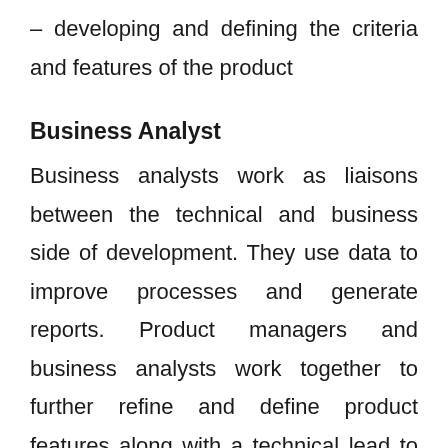– developing and defining the criteria and features of the product
Business Analyst
Business analysts work as liaisons between the technical and business side of development. They use data to improve processes and generate reports. Product managers and business analysts work together to further refine and define product features along with a technical lead to ensure they are prepared for development. Business